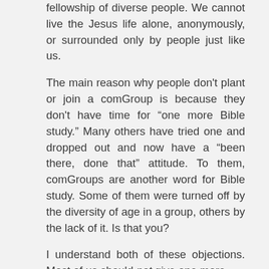fellowship of diverse people. We cannot live the Jesus life alone, anonymously, or surrounded only by people just like us.
The main reason why people don't plant or join a comGroup is because they don't have time for “one more Bible study.” Many others have tried one and dropped out and now have a “been there, done that” attitude. To them, comGroups are another word for Bible study. Some of them were turned off by the diversity of age in a group, others by the lack of it. Is that you?
I understand both of these objections. Most of us should not give one more